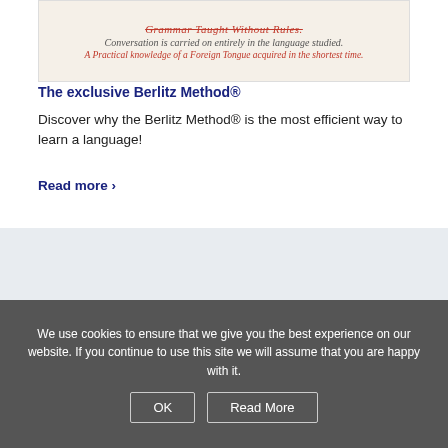[Figure (illustration): Old-style Berlitz advertisement image with decorative text lines including 'Grammar Taught Without Rules', 'Conversation is carried on entirely in the language studied.', and 'A Practical knowledge of a Foreign Tongue acquired in the shortest time.']
The exclusive Berlitz Method®
Discover why the Berlitz Method® is the most efficient way to learn a language!
Read more ›
GET IN TOUCH
Contact Form
Berlitz Worldwide
We use cookies to ensure that we give you the best experience on our website. If you continue to use this site we will assume that you are happy with it.